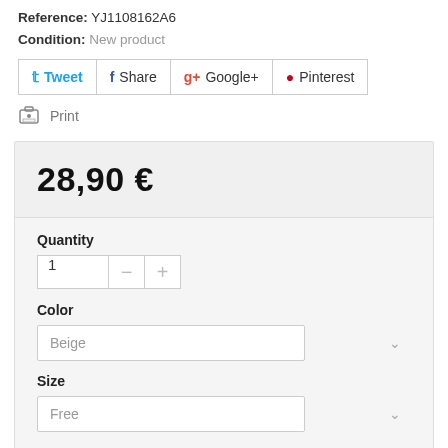Reference: YJ1108162A6
Condition: New product
[Figure (infographic): Social sharing buttons: Tweet, Share, Google+, Pinterest]
Print
28,90 €
Quantity
Color
Size